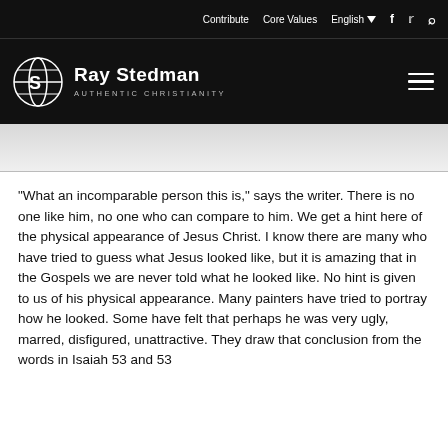Contribute   Core Values   English   [social icons]
[Figure (logo): Ray Stedman Authentic Christianity logo with globe/S icon, white text on black background, with hamburger menu icon on right]
[Figure (photo): Partial hero image strip, light gray/white]
"What an incomparable person this is," says the writer. There is no one like him, no one who can compare to him. We get a hint here of the physical appearance of Jesus Christ. I know there are many who have tried to guess what Jesus looked like, but it is amazing that in the Gospels we are never told what he looked like. No hint is given to us of his physical appearance. Many painters have tried to portray how he looked. Some have felt that perhaps he was very ugly, marred, disfigured, unattractive. They draw that conclusion from the words in Isaiah 53 and 53...